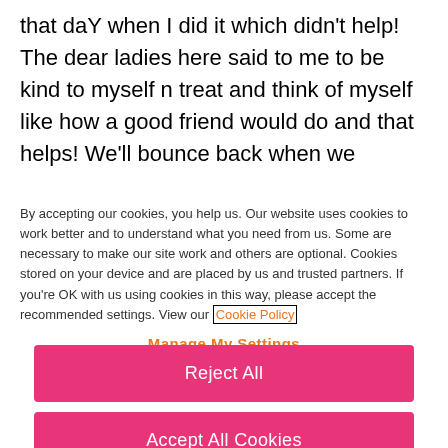that daY when I did it which didn't help! The dear ladies here said to me to be kind to myself n treat and think of myself like how a good friend would do and that helps! We'll bounce back when we
By accepting our cookies, you help us. Our website uses cookies to work better and to understand what you need from us. Some are necessary to make our site work and others are optional. Cookies stored on your device and are placed by us and trusted partners. If you're OK with us using cookies in this way, please accept the recommended settings. View our Cookie Policy
Manage My Settings
Reject All
Accept All Cookies